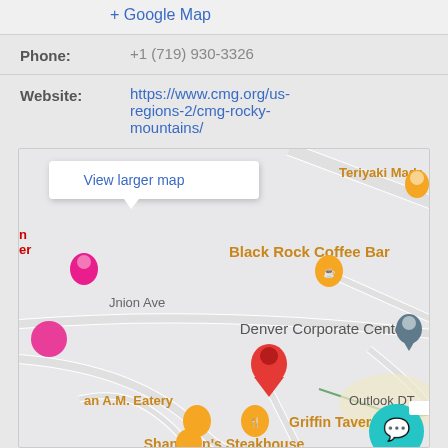+ Google Map
Phone:
+1 (719) 930-3326
Website:
https://www.cmg.org/us-regions-2/cmg-rocky-mountains/
[Figure (map): Google Maps embed showing Denver Corporate Center area with Black Rock Coffee Bar, Griffin Tavern, Shanahan's Steakhouse, Teriyaki Madr, an A.M. Eatery, Outlook DT, and a red pin marker in the center. A 'View larger map' popup is visible at the top.]